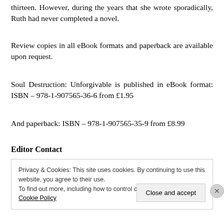thirteen. However, during the years that she wrote sporadically, Ruth had never completed a novel.
Review copies in all eBook formats and paperback are available upon request.
Soul Destruction: Unforgivable is published in eBook format: ISBN – 978-1-907565-36-6 from £1.95
And paperback: ISBN – 978-1-907565-35-9 from £8.99
Editor Contact
Privacy & Cookies: This site uses cookies. By continuing to use this website, you agree to their use.
To find out more, including how to control cookies, see here: Cookie Policy
Close and accept